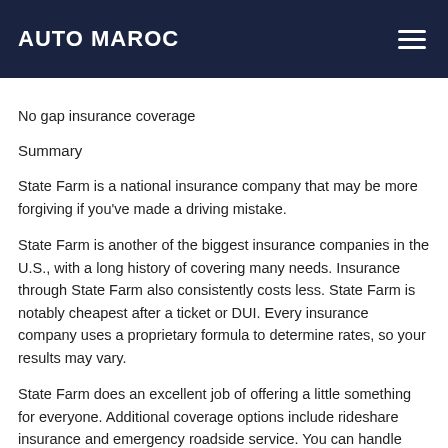AUTO MAROC
No gap insurance coverage
Summary
State Farm is a national insurance company that may be more forgiving if you’ve made a driving mistake.
State Farm is another of the biggest insurance companies in the U.S., with a long history of covering many needs. Insurance through State Farm also consistently costs less. State Farm is notably cheapest after a ticket or DUI. Every insurance company uses a proprietary formula to determine rates, so your results may vary.
State Farm does an excellent job of offering a little something for everyone. Additional coverage options include rideshare insurance and emergency roadside service. You can handle most of your needs online or through an agent, whichever you prefer. State Farm was highly rated for customer satisfaction in